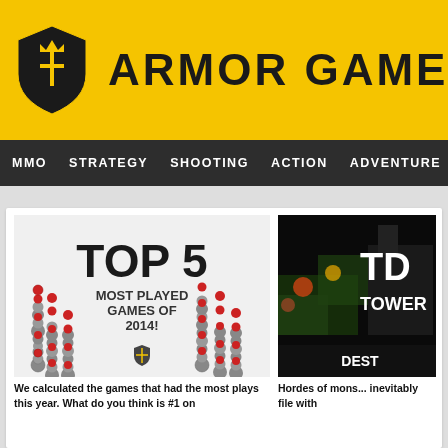[Figure (logo): Armor Games logo: yellow banner with shield icon and bold text ARMOR GAMES]
MMO  STRATEGY  SHOOTING  ACTION  ADVENTURE  P
[Figure (illustration): Top 5 Most Played Games of 2014 infographic with trophy-like red-ball stacks]
We calculated the games that had the most plays this year. What do you think is #1 on...
[Figure (screenshot): Tower defense game screenshot with dark background showing TD TOWER DEST text]
Hordes of mons... inevitably file with...